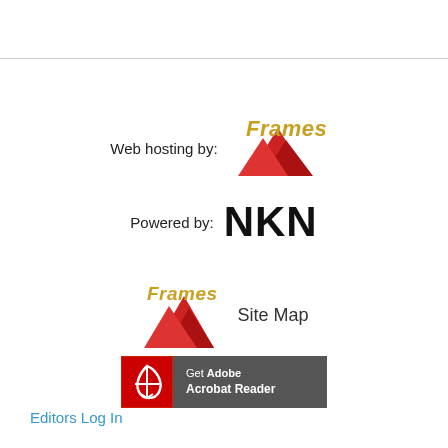[Figure (logo): Frames logo with red mountain triangles and gold italic text 'Frames' next to 'Web hosting by:' text]
[Figure (logo): NKN logo in large bold black text next to 'Powered by:' text]
[Figure (logo): Frames logo with red mountain triangles and gold italic text 'Frames' next to 'Site Map' text]
[Figure (logo): Get Adobe Acrobat Reader banner button with red background Acrobat icon and grey background text]
Editors Log In